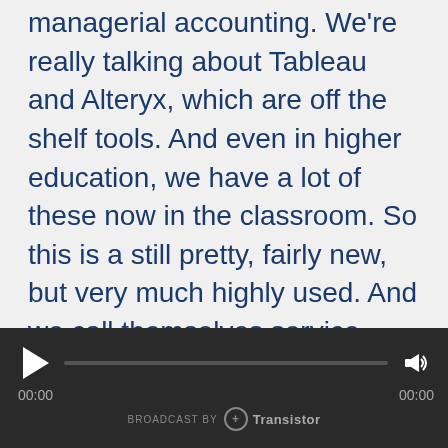managerial accounting. We're really talking about Tableau and Alteryx, which are off the shelf tools. And even in higher education, we have a lot of these now in the classroom. So this is a still pretty, fairly new, but very much highly used. And we call themselves service tools because, it's not something you develop, what you end up developing is a specific process within that tool. So for example, an Alteryx, you can create a little process that say does a reconciliation or a certain reporting. And it's something that used to live in Excel. That's really now living in this tool and we call it
[Figure (other): Audio player bar with play button, progress bar, volume control, timestamps 00:00 on both sides, and 'BROADCAST BY Transistor' branding at the bottom]